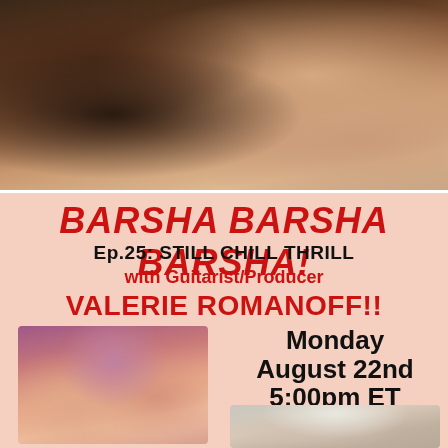[Figure (photo): A blurry close-up photo of two people, muted warm tones with dark and light areas, appears to be a candid or performance shot]
BARSHA BARSHA BARSHA!
Ep.25: STILL CHILL THRILL
with Guitarist/Producer
VALERIE ROMANOFF!!
[Figure (photo): A woman with curly dark hair wearing a pink fur jacket, standing in front of red rock formations (appears to be Sedona, AZ)]
Monday
August 22nd
5:00pm ET
[Figure (photo): A partial photo of a person with short blonde/white hair, cropped at the bottom of the image]